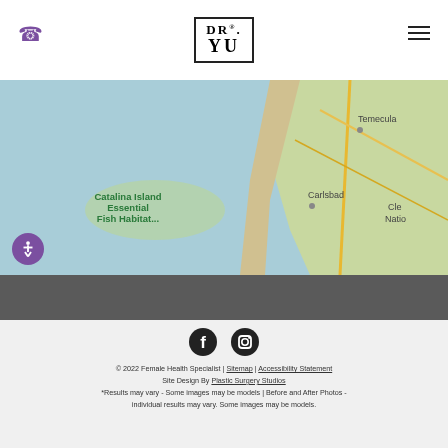[Figure (logo): DR. YU logo in a black bordered box, centered in the header]
[Figure (map): Google Maps screenshot showing coastal Southern California area with Catalina Island Essential Fish Habitat label, Temecula and Carlsbad visible]
[Figure (illustration): Social media icons: Facebook and Instagram circles in dark color]
© 2022 Female Health Specialist | Sitemap | Accessibility Statement
Site Design By Plastic Surgery Studios
*Results may vary - Some images may be models | Before and After Photos - individual results may vary. Some images may be models.